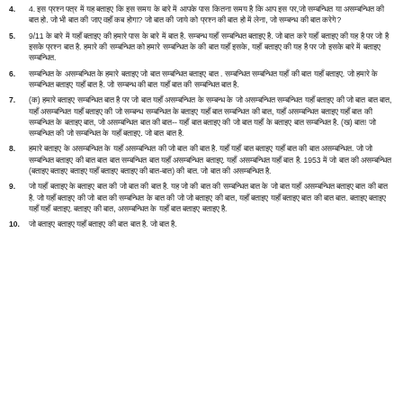4. (Hindi text - item 4)
5. 9/11 (Hindi text - item 5)
6. (Hindi text - item 6)
7. (Hindi text - item 7 with sub-items a and b)
8. (Hindi text - item 8 mentioning 1953)
9. (Hindi text - item 9)
10. (Hindi text - item 10)